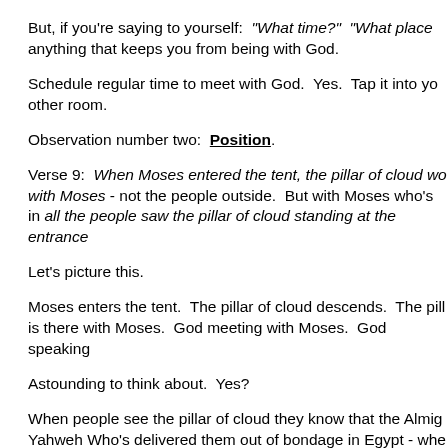But, if you're saying to yourself:  "What time?"  "What place… anything that keeps you from being with God.
Schedule regular time to meet with God.  Yes.  Tap it into yo… other room.
Observation number two:  Position.
Verse 9:  When Moses entered the tent, the pillar of cloud wo… with Moses - not the people outside.  But with Moses who's in… all the people saw the pillar of cloud standing at the entrance…
Let's picture this.
Moses enters the tent.  The pillar of cloud descends.  The pill… is there with Moses.  God meeting with Moses.  God speaking…
Astounding to think about.  Yes?
When people see the pillar of cloud they know that the Almig… Yahweh Who's delivered them out of bondage in Egypt - whe… people do what?  They worship.  Each person at the entrance…
What's the largest crowd you've been in?